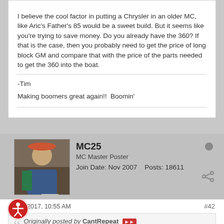I believe the cool factor in putting a Chrysler in an older MC, like Aric's Father's 85 would be a sweet build. But it seems like you're trying to save money. Do you already have the 360? If that is the case, then you probably need to get the price of long block GM and compare that with the price of the parts needed to get the 360 into the boat.
-Tim

Making boomers great again!!  Boomin'
MC25
MC Master Poster
Join Date: Nov 2007    Posts: 18611
07-20-2017, 10:55 AM
#42
Originally posted by CantRepeat
OK, so performance aside.
Let's talk about what you really want to do here and why.